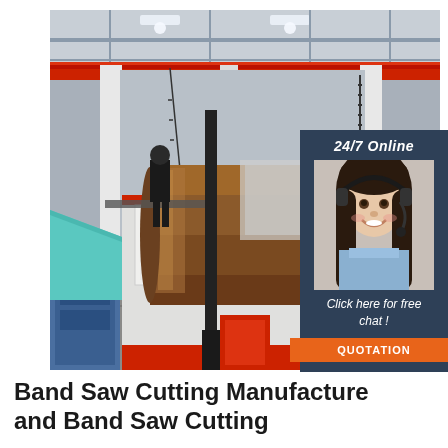[Figure (photo): Industrial factory interior showing a large band saw cutting machine with a long cylindrical steel pipe/tube being processed. Red overhead cranes visible, white and red machinery, a worker at a control station on the left side. Blue equipment visible in foreground. The factory has a steel-frame roof with natural lighting.]
[Figure (photo): Overlay panel with dark blue/navy background. Top text '24/7 Online' in white italic. Photo of a smiling woman with long dark hair wearing a headset/phone headset and blue shirt - customer service representative. Below: 'Click here for free chat !' in white italic text. Orange button with 'QUOTATION' text.]
Band Saw Cutting Manufacture and Band Saw Cutting